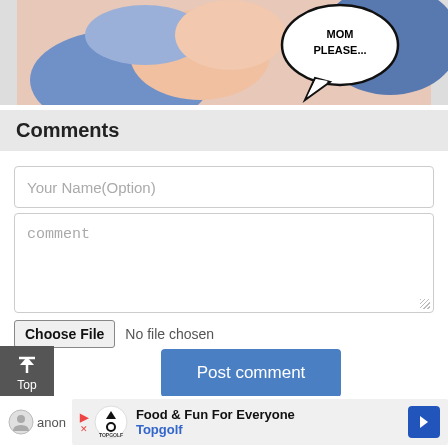[Figure (illustration): Manga/comic style illustration showing characters with a speech bubble saying 'MOM PLEASE...']
Comments
Your Name(Option)
comment
Choose File  No file chosen
Post comment
Top
[Figure (infographic): Advertisement for Topgolf: 'Food & Fun For Everyone' with Topgolf logo and navigation arrow icon]
anon